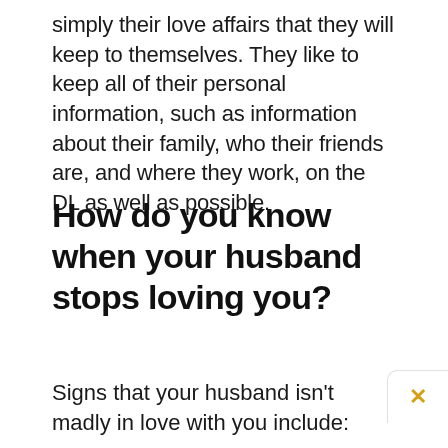simply their love affairs that they will keep to themselves. They like to keep all of their personal information, such as information about their family, who their friends are, and where they work, on the DL as well as possible.
How do you know when your husband stops loving you?
Signs that your husband isn't madly in love with you include: